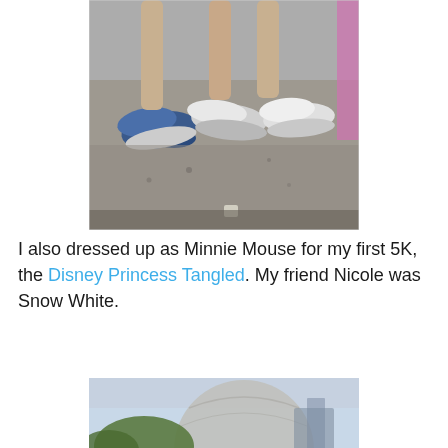[Figure (photo): Cropped photo showing feet and legs of runners wearing athletic shoes on pavement, partially cut off at top]
I also dressed up as Minnie Mouse for my first 5K, the Disney Princess Tangled. My friend Nicole was Snow White.
[Figure (photo): Photo at EPCOT showing two women dressed in costumes (Snow White and Minnie Mouse runner outfit) posing with Donald Duck and Mickey Mouse mascots, with Spaceship Earth sphere visible in background]